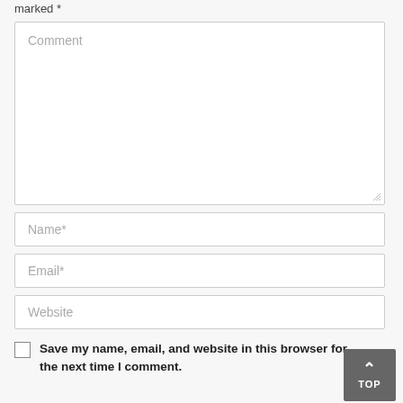marked *
[Figure (screenshot): Comment textarea input field with placeholder text 'Comment']
[Figure (screenshot): Name text input field with placeholder 'Name*']
[Figure (screenshot): Email text input field with placeholder 'Email*']
[Figure (screenshot): Website text input field with placeholder 'Website']
Save my name, email, and website in this browser for the next time I comment.